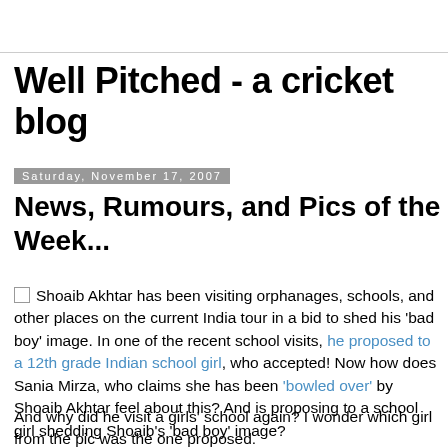Well Pitched - a cricket blog
Saturday, November 17, 2007
News, Rumours, and Pics of the Week...
Shoaib Akhtar has been visiting orphanages, schools, and other places on the current India tour in a bid to shed his 'bad boy' image. In one of the recent school visits, he proposed to a 12th grade Indian school girl, who accepted! Now how does Sania Mirza, who claims she has been 'bowled over' by Shoaib Akhtar feel about this? And is proposing to a school girl shedding Shoaib's 'bad boy' image?
And why did he visit a girls' school again? I wonder which girl from the pic was the one proposed.
Former Australian coach, John Buchanan has suggested